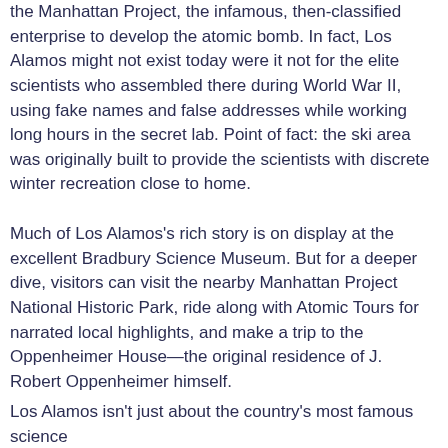the Manhattan Project, the infamous, then-classified enterprise to develop the atomic bomb. In fact, Los Alamos might not exist today were it not for the elite scientists who assembled there during World War II, using fake names and false addresses while working long hours in the secret lab. Point of fact: the ski area was originally built to provide the scientists with discrete winter recreation close to home.
Much of Los Alamos's rich story is on display at the excellent Bradbury Science Museum. But for a deeper dive, visitors can visit the nearby Manhattan Project National Historic Park, ride along with Atomic Tours for narrated local highlights, and make a trip to the Oppenheimer House—the original residence of J. Robert Oppenheimer himself.
Los Alamos isn't just about the country's most famous science